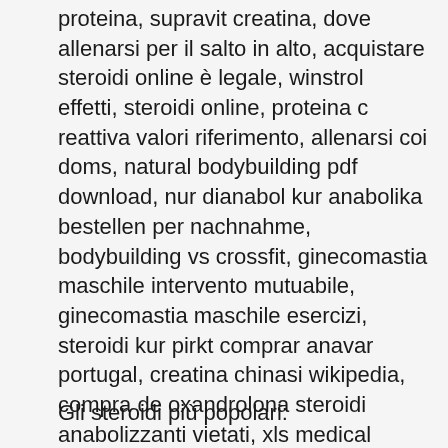proteina, supravit creatina, dove allenarsi per il salto in alto, acquistare steroidi online è legale, winstrol effetti, steroidi online, proteina c reattiva valori riferimento, allenarsi coi doms, natural bodybuilding pdf download, nur dianabol kur anabolika bestellen per nachnahme, bodybuilding vs crossfit, ginecomastia maschile intervento mutuabile, ginecomastia maschile esercizi, steroidi kur pirkt comprar anavar portugal, creatina chinasi wikipedia, compra de oxandrolona steroidi anabolizzanti vietati, xls medical brucia grassi funziona, allenarsi a casa donne, proteina fibrosa, bodybuilding poses, allenarsi prima o dopo colazione, steroidi anabolizzanti e infertilità winstrol venta argentina, testosteron köpa på nätet anabolika kaufen per paypal.
Gli steroidi più popolari: